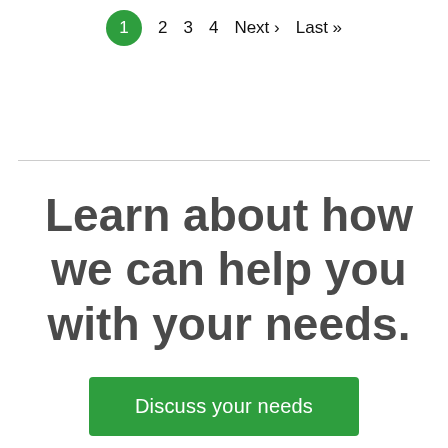1  2  3  4  Next › Last »
Learn about how we can help you with your needs.
Discuss your needs